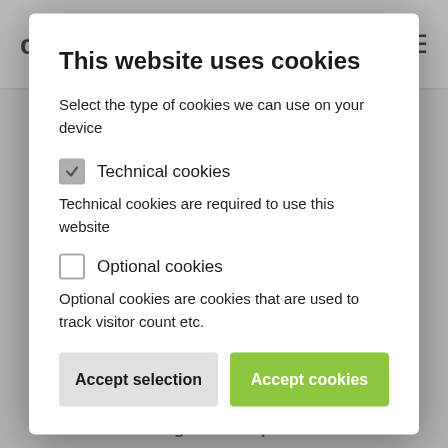coachbox (logo) | hamburger menu
Rights of the user
This website uses cookies
Select the type of cookies we can use on your device
Technical cookies
Technical cookies are required to use this website
Optional cookies
Optional cookies are cookies that are used to track visitor count etc.
Accept selection
Accept cookies
and all databases.Please contact us (contact@coachbox.app).
4. You have the right to complain
The user always has the right to submit a complaint to the